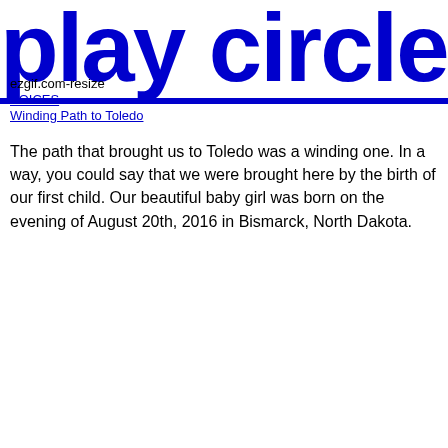play circle
ezgif.com-resize
VOICES
Winding Path to Toledo
The path that brought us to Toledo was a winding one. In a way, you could say that we were brought here by the birth of our first child. Our beautiful baby girl was born on the evening of August 20th, 2016 in Bismarck, North Dakota.